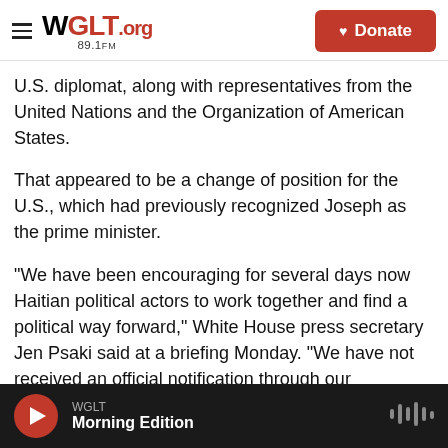WGLT.org 89.1FM — Donate
U.S. diplomat, along with representatives from the United Nations and the Organization of American States.
That appeared to be a change of position for the U.S., which had previously recognized Joseph as the prime minister.
"We have been encouraging for several days now Haitian political actors to work together and find a political way forward," White House press secretary Jen Psaki said at a briefing Monday. "We have not received an official notification through our
WGLT — Morning Edition